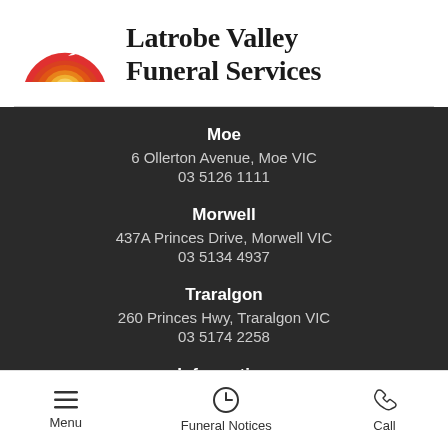[Figure (logo): Latrobe Valley Funeral Services logo: semicircular sunset/sunrise design in red-orange-yellow gradient with two white birds, alongside bold serif text 'Latrobe Valley Funeral Services']
Moe
6 Ollerton Avenue, Moe VIC
03 5126 1111
Morwell
437A Princes Drive, Morwell VIC
03 5134 4937
Traralgon
260 Princes Hwy, Traralgon VIC
03 5174 2258
Information
Menu | Funeral Notices | Call